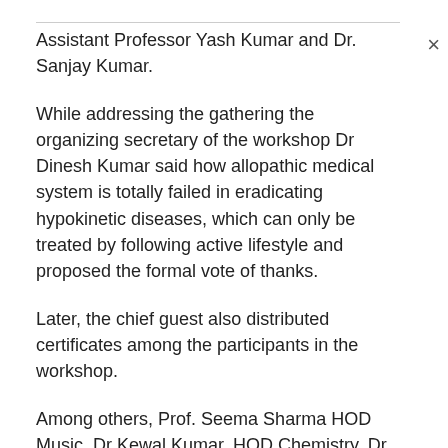Assistant Professor Yash Kumar and Dr. Sanjay Kumar.
While addressing the gathering the organizing secretary of the workshop Dr Dinesh Kumar said how allopathic medical system is totally failed in eradicating hypokinetic diseases, which can only be treated by following active lifestyle and proposed the formal vote of thanks.
Later, the chief guest also distributed certificates among the participants in the workshop.
Among others, Prof. Seema Sharma HOD Music, Dr Kewal Kumar, HOD Chemistry, Dr Ashok Kumar, Associate professor of mathematics, Dr Mool Raj, HOD Urdu, Prof Arun Gupta, Librarian, Prof Sumita Rao Dean students welfare, Prof Sunil Singh, Prof Binny Kumar HOD Commerce, Prof Yashpal HOD History, Prof. Sumit Assistant Professor of English, Prof Yash Kumar, Assistant professor Music, Prof Sanjeev Upadhaye, MD,